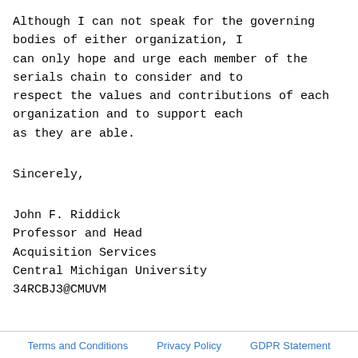Although I can not speak for the governing bodies of either organization, I can only hope and urge each member of the serials chain to consider and to respect the values and contributions of each organization and to support each as they are able.
Sincerely,
John F. Riddick
Professor and Head
Acquisition Services
Central Michigan University
34RCBJ3@CMUVM
Terms and Conditions   Privacy Policy   GDPR Statement